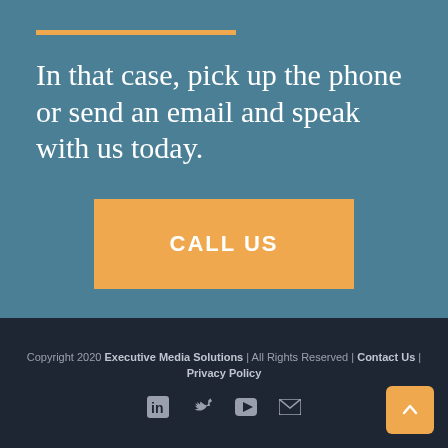In that case, pick up the phone or send an email and speak with us today.
CALL US
Copyright 2020 Executive Media Solutions | All Rights Reserved | Contact Us | Privacy Policy